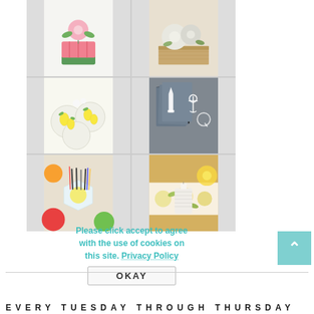[Figure (photo): A 2x3 grid of six DIY/craft images showing: top-left a pink watermelon-themed flower pot with pink flowers, top-right a wooden box with white/grey flowers, middle-left lemon-themed coasters with yellow lemon designs, middle-right grey napkins with white monogram/anchor/lighthouse designs, bottom-left a colorful table setting with white caddy and sun design, bottom-right a floral table runner with a white ribbed candle holder]
Please click accept to agree with the use of cookies on this site. Privacy Policy
OKAY
EVERY TUESDAY THROUGH THURSDAY